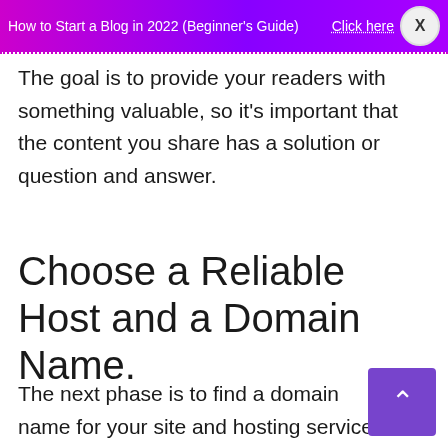How to Start a Blog in 2022 (Beginner's Guide) Click here X
The goal is to provide your readers with something valuable, so it's important that the content you share has a solution or question and answer.
Choose a Reliable Host and a Domain Name.
The next phase is to find a domain name for your site and hosting service. Your site's internet address, or URL (Uniform Resource Locator).